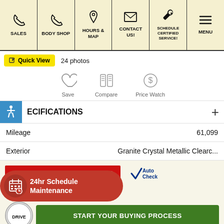SALES | BODY SHOP | HOURS & MAP | CONTACT US! | SCHEDULE CERTIFIED SERVICE! | MENU
Quick View  24 photos
[Figure (illustration): Save, Compare, and Price Watch icons with labels]
ECIFICATIONS
| Attribute | Value |
| --- | --- |
| Mileage | 61,099 |
| Exterior | Granite Crystal Metallic Clearc... |
AVAILABLE FOR TRANSFER
[Figure (logo): AutoCheck logo with checkmark]
24hr Schedule Maintenance
START YOUR BUYING PROCESS